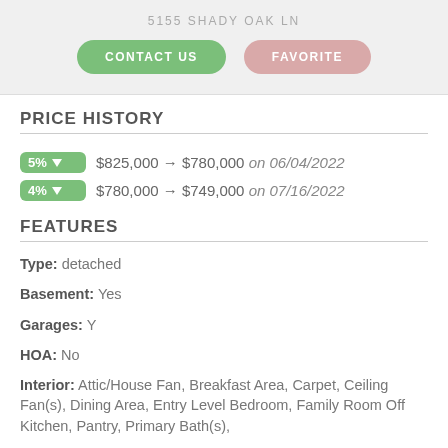5155 SHADY OAK LN
CONTACT US | FAVORITE
PRICE HISTORY
5% ↓ $825,000 → $780,000 on 06/04/2022
4% ↓ $780,000 → $749,000 on 07/16/2022
FEATURES
Type: detached
Basement: Yes
Garages: Y
HOA: No
Interior: Attic/House Fan, Breakfast Area, Carpet, Ceiling Fan(s), Dining Area, Entry Level Bedroom, Family Room Off Kitchen, Pantry, Primary Bath(s),